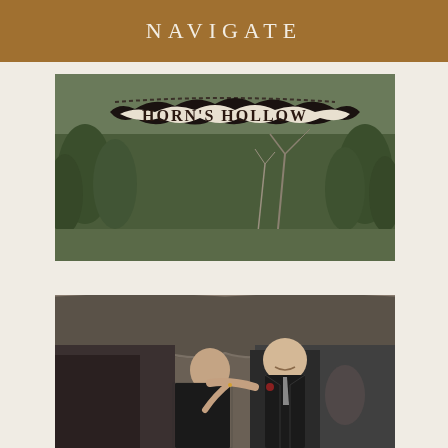NAVIGATE
[Figure (photo): Outdoor sign hanging from a chain that reads HORN'S HOLLOW in large rustic lettering against a wooded background with bare trees and evergreens.]
[Figure (photo): A couple dancing together at an indoor/outdoor wedding reception under a tent canopy. The woman wears a black lace dress and the man wears a dark suit with a gray tie and boutonniere.]